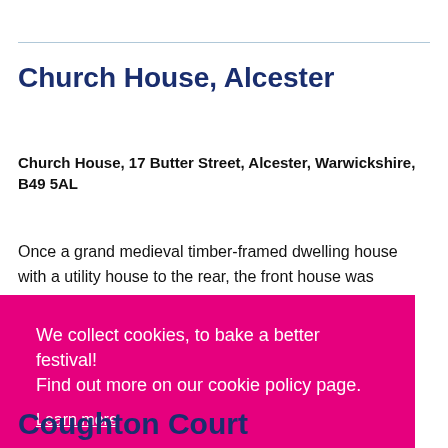Church House, Alcester
Church House, 17 Butter Street, Alcester, Warwickshire, B49 5AL
Once a grand medieval timber-framed dwelling house with a utility house to the rear, the front house was
We collect cookies, to bake a better festival! Find out more on our cookie policy page.
Learn more
Got it!
Coughton Court